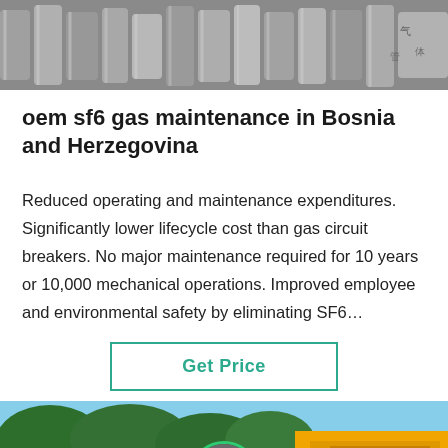[Figure (photo): Close-up photo of metallic industrial pipes or rods, gray tones, industrial setting]
oem sf6 gas maintenance in Bosnia and Herzegovina
Reduced operating and maintenance expenditures. Significantly lower lifecycle cost than gas circuit breakers. No major maintenance required for 10 years or 10,000 mechanical operations. Improved employee and environmental safety by eliminating SF6…
Get Price
[Figure (photo): Outdoor photo showing green trees on the left and a yellow industrial vehicle/container on the right under blue sky]
Leave Message
Chat Online